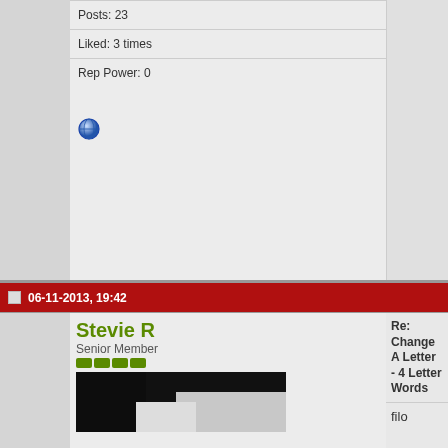Posts: 23
Liked: 3 times
Rep Power: 0
06-11-2013, 19:42
Stevie R
Senior Member
[Figure (photo): User avatar photo - dark image]
Join Date: Nov 2011
Location: south facing
Posts: 1,394
Liked: 293 times
Rep Power: 467284
Re: Change A Letter - 4 Letter Words
filo